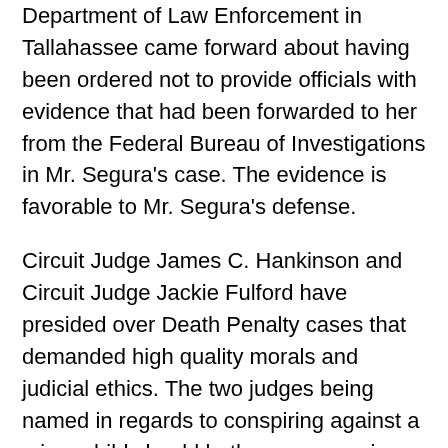Department of Law Enforcement in Tallahassee came forward about having been ordered not to provide officials with evidence that had been forwarded to her from the Federal Bureau of Investigations in Mr. Segura's case. The evidence is favorable to Mr. Segura's defense.
Circuit Judge James C. Hankinson and Circuit Judge Jackie Fulford have presided over Death Penalty cases that demanded high quality morals and judicial ethics. The two judges being named in regards to conspiring against a minor child should bother everyone in Florida and in the World. DeShon was 17-years-old when he was charged with heinous crimes. DeShon was 19-years-old when he was charged with Solicitation to Commit 1st Degree Murder. DeShon was 20-years-old when he was sent to prison.